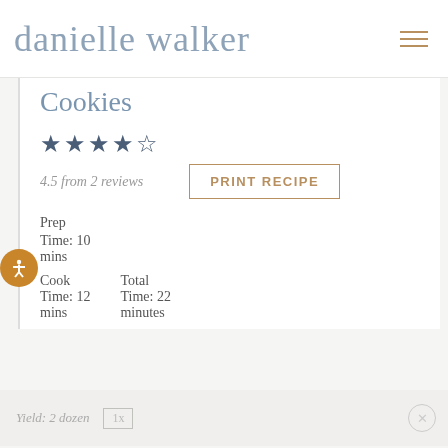danielle walker
Cookies
★★★★½
4.5 from 2 reviews
PRINT RECIPE
Prep
Time: 10
mins
Cook
Time: 12
mins
Total
Time: 22
minutes
Yield: 2 dozen  1x